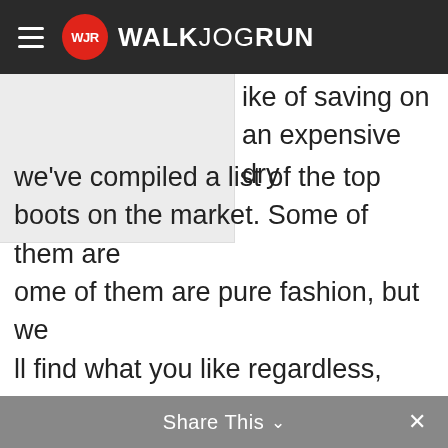WJR WALKJOGRUN
ike of saving on an expensive dry we've compiled a list of the top boots on the market. Some of them are ome of them are pure fashion, but we ll find what you like regardless, and that r your next Wellington boots with some rainy weather! Check out our best s!
Picks | Criteria Used for n | 10 Best Wellington Boots |
Share This ✓  ×